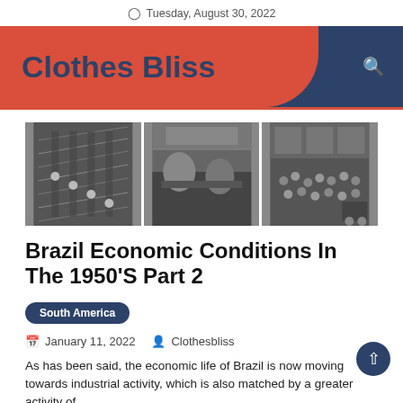Tuesday, August 30, 2022
Clothes Bliss
[Figure (photo): Three black and white historical photographs: factory assembly line, workers at a counter, and a crowded market scene]
Brazil Economic Conditions In The 1950'S Part 2
South America
January 11, 2022   Clothesbliss
As has been said, the economic life of Brazil is now moving towards industrial activity, which is also matched by a greater activity of